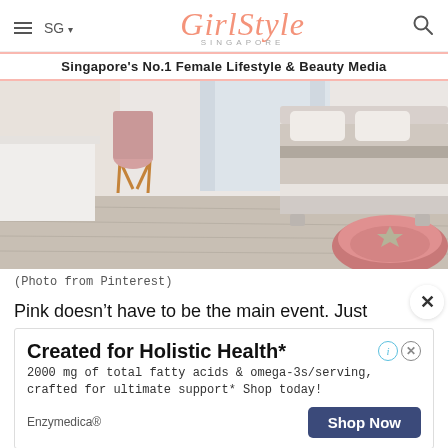GirlStyle SINGAPORE
Singapore's No.1 Female Lifestyle & Beauty Media
[Figure (photo): Bedroom interior with pink fluffy pet bed, a pink Eames-style chair, wooden floor, and a bed with neutral bedding]
(Photo from Pinterest)
Pink doesn't have to be the main event. Just
Created for Holistic Health*
2000 mg of total fatty acids & omega-3s/serving, crafted for ultimate support* Shop today!
Enzymedica®  Shop Now